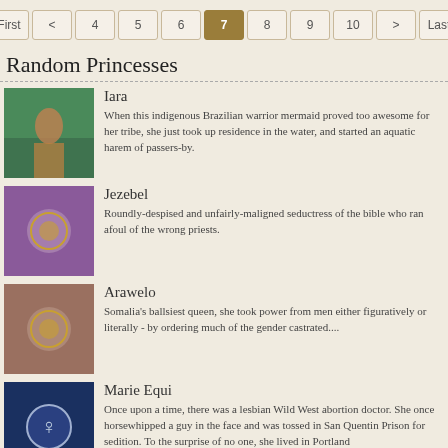First < 4 5 6 7 8 9 10 > Last
Random Princesses
Iara
When this indigenous Brazilian warrior mermaid proved too awesome for her tribe, she just took up residence in the water, and started an aquatic harem of passers-by.
Jezebel
Roundly-despised and unfairly-maligned seductress of the bible who ran afoul of the wrong priests.
Arawelo
Somalia's ballsiest queen, she took power from men either figuratively or literally - by ordering much of the gender castrated....
Marie Equi
Once upon a time, there was a lesbian Wild West abortion doctor. She once horsewhipped a guy in the face and was tossed in San Quentin Prison for sedition. To the surprise of no one, she lived in Portland